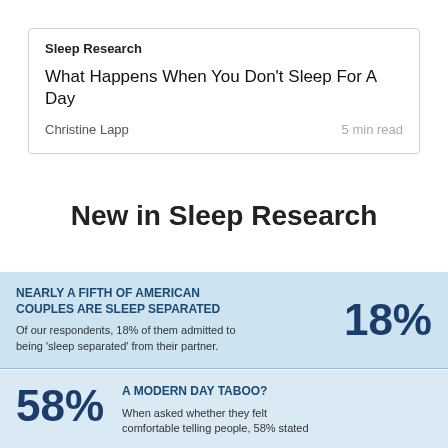Sleep Research
What Happens When You Don't Sleep For A Day
Christine Lapp
5 min read
New in Sleep Research
NEARLY A FIFTH OF AMERICAN COUPLES ARE SLEEP SEPARATED 18% Of our respondents, 18% of them admitted to being 'sleep separated' from their partner.
58% A MODERN DAY TABOO? When asked whether they felt comfortable telling people, 58% stated